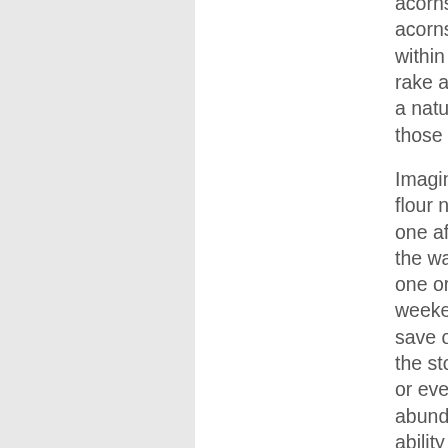acorns to gather enough acorns for an entire year within a few hours with a rake and dustpan. It truly is a natural abundance during those mast years!
Imagine gathering all your flour needs for the year in one afternoon. It's similar to the way hunters take home one or two deer in a few weekends of hunting and save on buying meat from the store the entire winter or even next year. Natural abundance has that kind of ability – it's what gave early humans the free time to imagine, reflect, and invent new ways of thinking and being. We could be leveraging natural abundances that are already in place to fight hunger and free